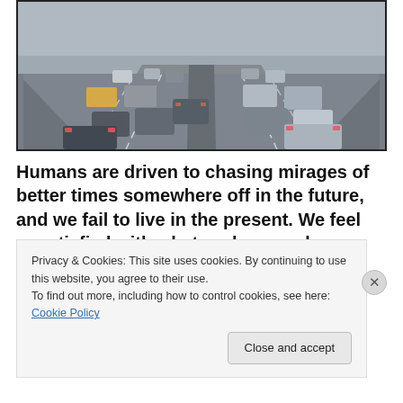[Figure (photo): Aerial/elevated view of a multi-lane highway bridge with heavy traffic, cars driving in both directions under hazy/smoggy conditions]
Humans are driven to chasing mirages of better times somewhere off in the future, and we fail to live in the present. We feel unsatisfied with what we have and are continually deluded that some new possession, accomplishment, or love “conquest” will bring with it
Privacy & Cookies: This site uses cookies. By continuing to use this website, you agree to their use.
To find out more, including how to control cookies, see here: Cookie Policy
Close and accept